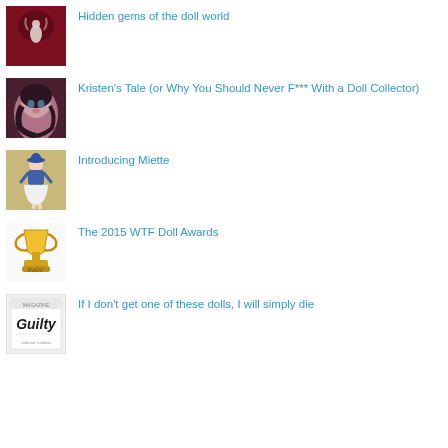[Figure (photo): Thumbnail image: dark red/maroon background with a small white fairy or dancer figure]
Hidden gems of the doll world
[Figure (photo): Thumbnail image: close-up of a realistic doll face with dark hair and rosy cheeks]
Kristen's Tale (or Why You Should Never F*** With a Doll Collector)
[Figure (photo): Thumbnail image: tan/khaki background with a small doll in a blue top and white skirt]
Introducing Miette
[Figure (photo): Thumbnail image: gold trophy cup with 'Event' text on base]
The 2015 WTF Doll Awards
[Figure (photo): Thumbnail image: magazine or book cover with 'Guilty' text]
If I don't get one of these dolls, I will simply die